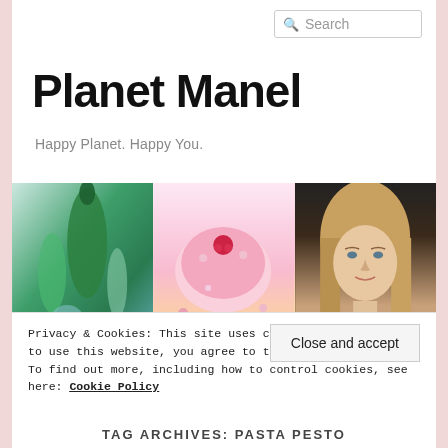Search
Planet Manel
Happy Planet. Happy You.
[Figure (photo): Three photos side by side: glass bottles with green liquid, a pink smoothie bowl with raspberries and flowers and lemon, and a portrait of a blonde woman]
Privacy & Cookies: This site uses cookies. By continuing to use this website, you agree to their use.
To find out more, including how to control cookies, see here: Cookie Policy
Close and accept
TAG ARCHIVES: PASTA PESTO